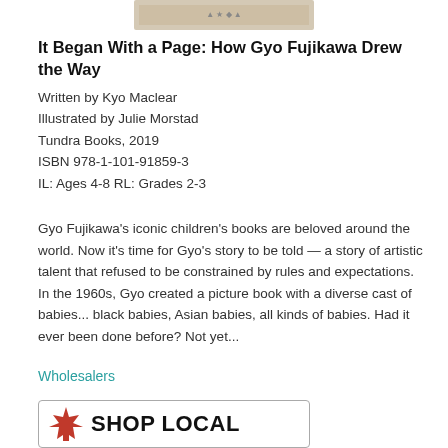[Figure (illustration): Partial view of a book cover image at the top of the page]
It Began With a Page: How Gyo Fujikawa Drew the Way
Written by Kyo Maclear
Illustrated by Julie Morstad
Tundra Books, 2019
ISBN 978-1-101-91859-3
IL: Ages 4-8 RL: Grades 2-3
Gyo Fujikawa’s iconic children’s books are beloved around the world. Now it’s time for Gyo’s story to be told — a story of artistic talent that refused to be constrained by rules and expectations. In the 1960s, Gyo created a picture book with a diverse cast of babies... black babies, Asian babies, all kinds of babies. Had it ever been done before? Not yet...
Wholesalers
[Figure (logo): Shop Local logo with a red maple leaf graphic and bold text reading SHOP LOCAL]